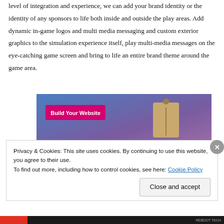level of integration and experience, we can add your brand identity or the identity of any sponsors to life both inside and outside the play areas. Add dynamic in-game logos and multi media messaging and custom exterior graphics to the simulation experience itself, play multi-media messages on the eye-catching game screen and bring to life an entire brand theme around the game area.
[Figure (screenshot): A screenshot of a website builder interface showing a 'Build Your Website' pink/magenta button on a blue-to-purple gradient background, with a tan/beige price tag icon on the right side.]
Privacy & Cookies: This site uses cookies. By continuing to use this website, you agree to their use.
To find out more, including how to control cookies, see here: Cookie Policy
Close and accept